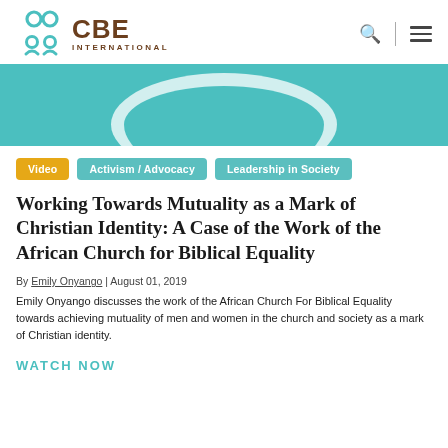CBE International
[Figure (illustration): Teal/turquoise hero banner image with a white arc/circle shape partially visible at the bottom center]
Video | Activism / Advocacy | Leadership in Society
Working Towards Mutuality as a Mark of Christian Identity: A Case of the Work of the African Church for Biblical Equality
By Emily Onyango | August 01, 2019
Emily Onyango discusses the work of the African Church For Biblical Equality towards achieving mutuality of men and women in the church and society as a mark of Christian identity.
WATCH NOW